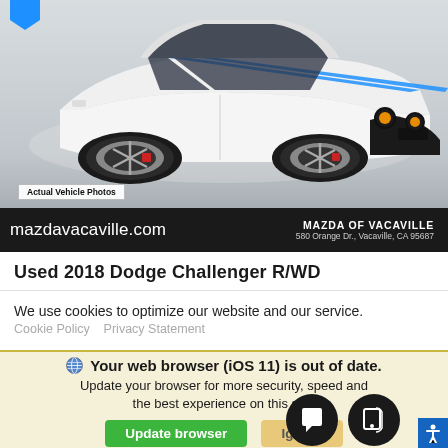[Figure (photo): White Dodge Challenger muscle car with blue racing stripes, photographed from a front 3/4 angle on a grey background]
Actual Vehicle Photos
mazdavacaville.com
MAZDA OF VACAVILLE
580 Orange Dr., Vacaville, CA 95687
Used 2018 Dodge Challenger R/WD
We use cookies to optimize our website and our service.
Cookie Policy   Privacy Statement
Your web browser (iOS 11) is out of date.
Update your browser for more security, speed and the best experience on this site.
Update browser
Ignore